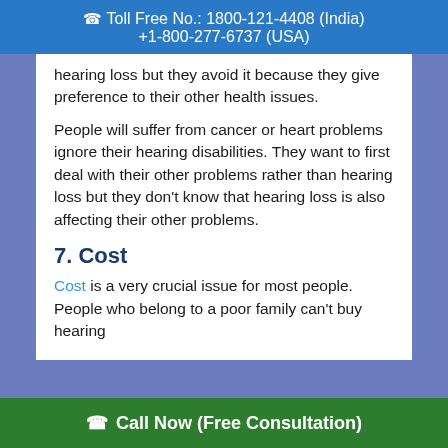Toll Free No.: 1800-121-4408 (India)
+1-800-277-6737 (USA)
hearing loss but they avoid it because they give preference to their other health issues.
People will suffer from cancer or heart problems ignore their hearing disabilities. They want to first deal with their other problems rather than hearing loss but they don't know that hearing loss is also affecting their other problems.
7. Cost
Cost is a very crucial issue for most people. People who belong to a poor family can't buy hearing
Call Now (Free Consultation)